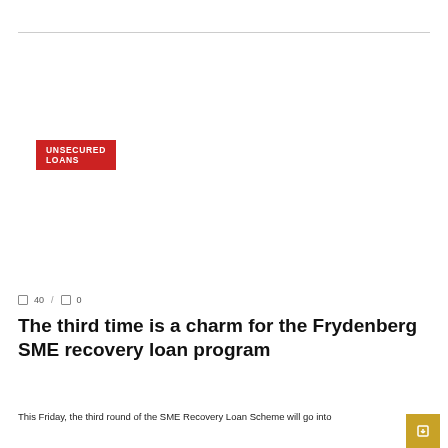UNSECURED LOANS
40 / 0
The third time is a charm for the Frydenberg SME recovery loan program
This Friday, the third round of the SME Recovery Loan Scheme will go into